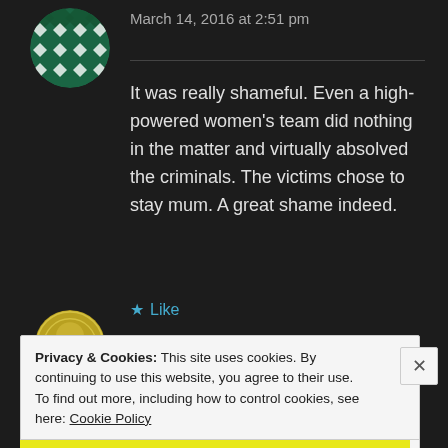March 14, 2016 at 2:51 pm
It was really shameful. Even a high-powered women's team did nothing in the matter and virtually absolved the criminals. The victims chose to stay mum. A great shame indeed.
★ Like
Privacy & Cookies: This site uses cookies. By continuing to use this website, you agree to their use.
To find out more, including how to control cookies, see here: Cookie Policy
Close and accept